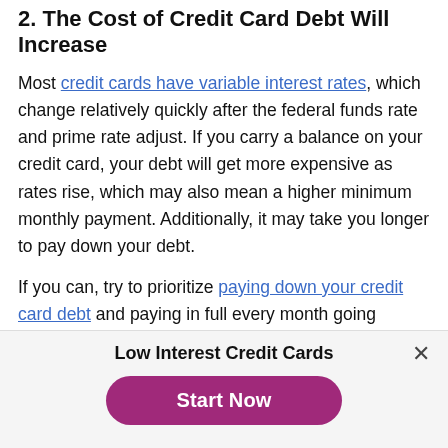2. The Cost of Credit Card Debt Will Increase
Most credit cards have variable interest rates, which change relatively quickly after the federal funds rate and prime rate adjust. If you carry a balance on your credit card, your debt will get more expensive as rates rise, which may also mean a higher minimum monthly payment. Additionally, it may take you longer to pay down your debt.
If you can, try to prioritize paying down your credit card debt and paying in full every month going forward to avoid interest charges.
3. Your Mortgage Payment May Go Up
Low Interest Credit Cards
Start Now